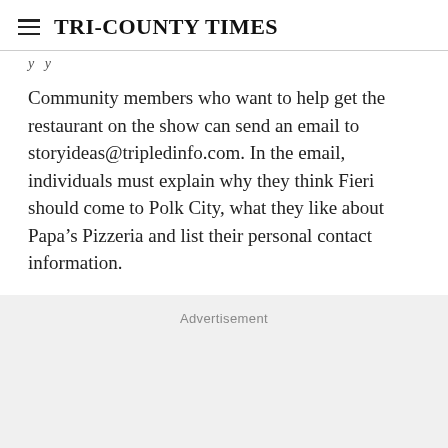Tri-County Times
Community members who want to help get the restaurant on the show can send an email to storyideas@tripledinfo.com. In the email, individuals must explain why they think Fieri should come to Polk City, what they like about Papa’s Pizzeria and list their personal contact information.
Advertisement